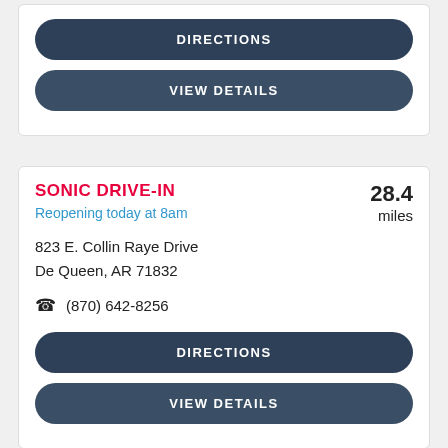[Figure (screenshot): Top card partial view showing DIRECTIONS and VIEW DETAILS buttons]
DIRECTIONS
VIEW DETAILS
SONIC DRIVE-IN
Reopening today at 8am
28.4 miles
823 E. Collin Raye Drive
De Queen, AR 71832
(870) 642-8256
DIRECTIONS
VIEW DETAILS